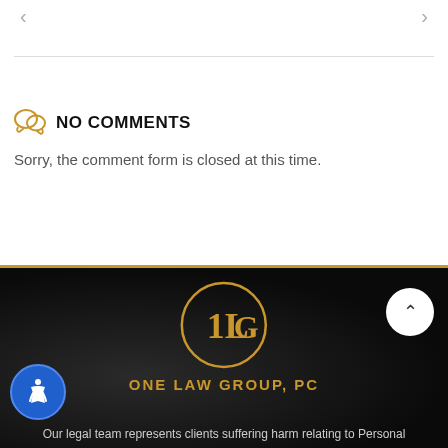< >
NO COMMENTS
Sorry, the comment form is closed at this time.
[Figure (logo): One Law Group PC circular logo with '1LG' monogram in gold on dark background]
ONE LAW GROUP, PC
Our legal team represents clients suffering harm relating to Personal